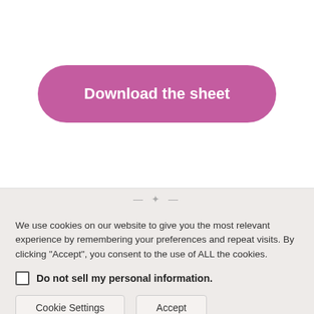[Figure (other): Pink rounded-rectangle button with white bold text 'Download the sheet']
We use cookies on our website to give you the most relevant experience by remembering your preferences and repeat visits. By clicking “Accept”, you consent to the use of ALL the cookies.
Do not sell my personal information
Cookie Settings   Accept